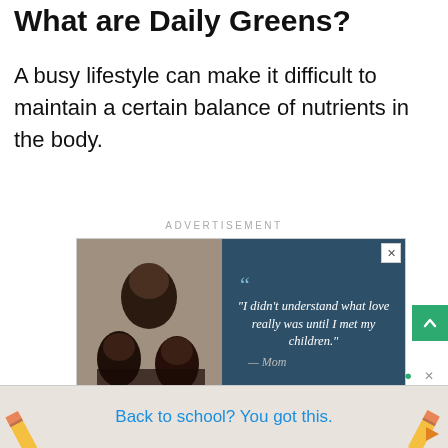What are Daily Greens?
A busy lifestyle can make it difficult to maintain a certain balance of nutrients in the body.
ADVERTISEMENT
[Figure (photo): Advertisement with a family photo on the left and a quote panel on the right reading: "I didn't understand what love really was until I met my children." — Mom]
[Figure (other): Bottom banner advertisement: pencils on either side, text 'Back to school? You got this.' in blue]